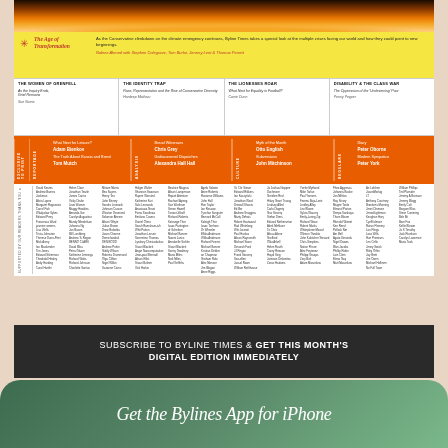[Figure (photo): Sunset/fire landscape image at top of magazine front page]
The Age of Transformation — As the Conservative climbdown on the climate emergency continues, Byline Times takes a special look at the multiple crises facing our world and how they could point to new beginnings. Naleez Ahmed with Stephen Colegrave, Tom Burke, Jeremy Lent & Thomas Perrett
THE WOMEN OF GRENFELL
As the Inquiry Ends, Grief Remains
Sue Norris
THE IDENTITY TRAP
Race, Representation and the Rise of Conservative Diversity
Hardeep Matharu
THE LIONESSES ROAR
What Next for Equality in Football?
Carrie Dunn
DISABILITY & THE CLASS WAR
The Oppression of the 'Undeserving' Poor
Penny Pepper
[Figure (infographic): Orange features bar with sections: EXCLUSIVE TO PRINT, REPORTAGE, ANALYSIS, CULTURE, REGULARS listing contributors]
[Figure (infographic): Grid of supporter/subscriber names]
SUBSCRIBE TO BYLINE TIMES & GET THIS MONTH'S DIGITAL EDITION IMMEDIATELY
Get the Bylines App for iPhone